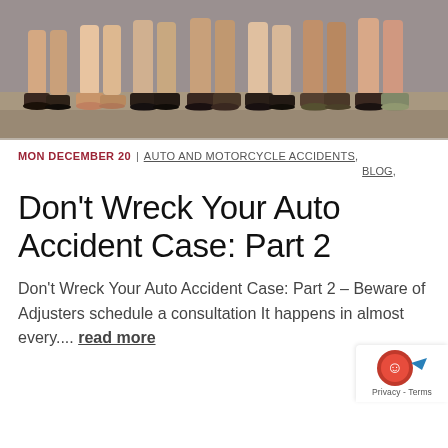[Figure (photo): Photo showing the lower legs and feet of several people seated in a row, wearing various shoes and heels on a stone surface.]
MON DECEMBER 20  |  AUTO AND MOTORCYCLE ACCIDENTS, BLOG,
Don't Wreck Your Auto Accident Case: Part 2
Don't Wreck Your Auto Accident Case: Part 2 – Beware of Adjusters schedule a consultation It happens in almost every....  read more